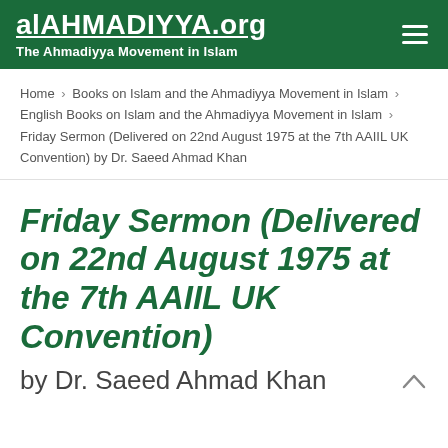alAHMADIYYA.org — The Ahmadiyya Movement in Islam
Home > Books on Islam and the Ahmadiyya Movement in Islam > English Books on Islam and the Ahmadiyya Movement in Islam > Friday Sermon (Delivered on 22nd August 1975 at the 7th AAIIL UK Convention) by Dr. Saeed Ahmad Khan
Friday Sermon (Delivered on 22nd August 1975 at the 7th AAIIL UK Convention) by Dr. Saeed Ahmad Khan